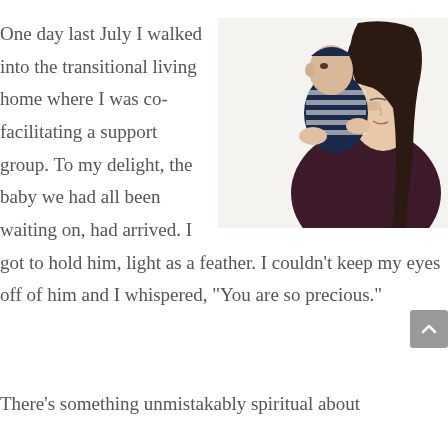One day last July I walked into the transitional living home where I was co-facilitating a support group. To my delight, the baby we had all been waiting on, had arrived. I got to hold him, light as a feather. I couldn't keep my eyes off of him and I whispered, “You are so precious.”
[Figure (photo): A woman with long dark hair wearing a dark maroon top holds a newborn baby dressed in a navy striped outfit up in front of her face, looking at the baby against a white background.]
There’s something unmistakably spiritual about